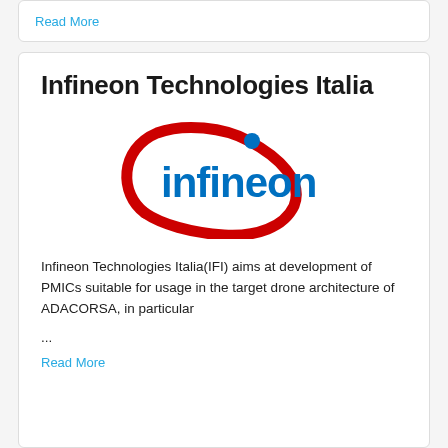Read More
Infineon Technologies Italia
[Figure (logo): Infineon Technologies logo — blue text 'infineon' with a red curved arc forming a partial ellipse around it and a blue dot]
Infineon Technologies Italia(IFI) aims at development of PMICs suitable for usage in the target drone architecture of ADACORSA, in particular
...
Read More